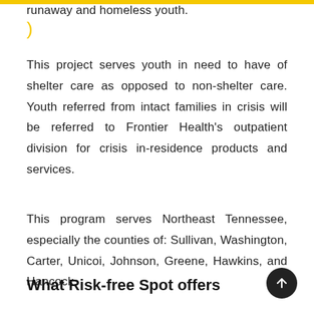runaway and homeless youth.
This project serves youth in need to have of shelter care as opposed to non-shelter care. Youth referred from intact families in crisis will be referred to Frontier Health's outpatient division for crisis in-residence products and services.
This program serves Northeast Tennessee, especially the counties of: Sullivan, Washington, Carter, Unicoi, Johnson, Greene, Hawkins, and Hancock.
What Risk-free Spot offers